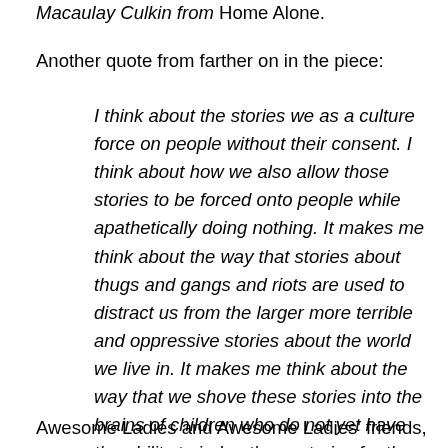Macaulay Culkin from Home Alone.
Another quote from farther on in the piece:
I think about the stories we as a culture force on people without their consent. I think about how we also allow those stories to be forced onto people while apathetically doing nothing. It makes me think about the way that stories about thugs and gangs and riots are used to distract us from the larger more terrible and oppressive stories about the world we live in. It makes me think about the way that we shove these stories into the brains of children who do not yet have the ability to judge these stories for the garbage they are. I think about all the work we are now responsible to do as adults to pull them out of ourselves.
Awesome Ladies and Awesome Ladies' friends, I don't